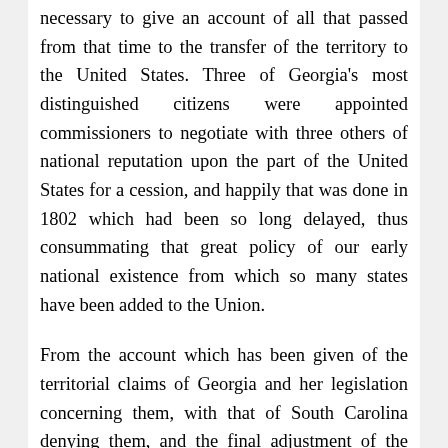necessary to give an account of all that passed from that time to the transfer of the territory to the United States. Three of Georgia's most distinguished citizens were appointed commissioners to negotiate with three others of national reputation upon the part of the United States for a cession, and happily that was done in 1802 which had been so long delayed, thus consummating that great policy of our early national existence from which so many states have been added to the Union.
From the account which has been given of the territorial claims of Georgia and her legislation concerning them, with that of South Carolina denying them, and the final adjustment of the dispute between these states and that of the United States for the cession by Georgia of her unsettled territory, we have learned that when Georgia did cede it to the United States, she was then in possession and had a right to all the land, subject to the